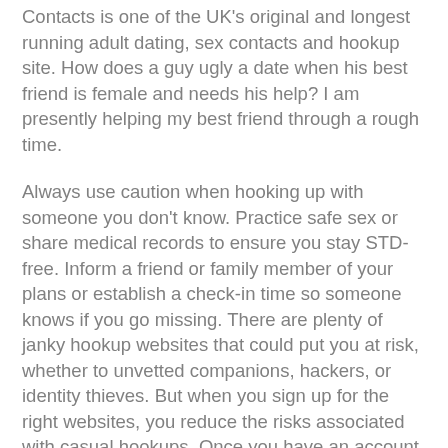Contacts is one of the UK's original and longest running adult dating, sex contacts and hookup site. How does a guy ugly a date when his best friend is female and needs his help? I am presently helping my best friend through a rough time.
Always use caution when hooking up with someone you don't know. Practice safe sex or share medical records to ensure you stay STD-free. Inform a friend or family member of your plans or establish a check-in time so someone knows if you go missing. There are plenty of janky hookup websites that could put you at risk, whether to unvetted companions, hackers, or identity thieves. But when you sign up for the right websites, you reduce the risks associated with casual hookups. Once you have an account, you